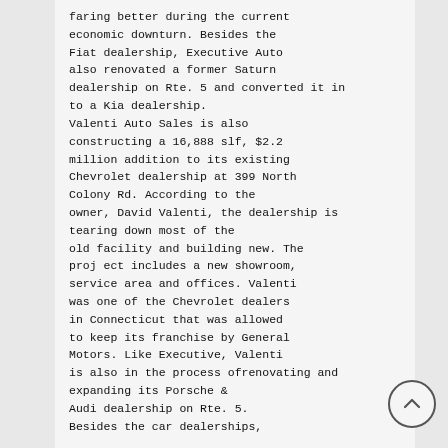faring better during the current economic downturn. Besides the Fiat dealership, Executive Auto also renovated a former Saturn dealership on Rte. 5 and converted it in to a Kia dealership. Valenti Auto Sales is also constructing a 16,888 slf, $2.2 million addition to its existing Chevrolet dealership at 399 North Colony Rd. According to the owner, David Valenti, the dealership is tearing down most of the old facility and building new. The proj ect includes a new showroom, service area and offices. Valenti was one of the Chevrolet dealers in Connecticut that was allowed to keep its franchise by General Motors. Like Executive, Valenti is also in the process ofrenovating and expanding its Porsche & Audi dealership on Rte. 5. Besides the car dealerships,